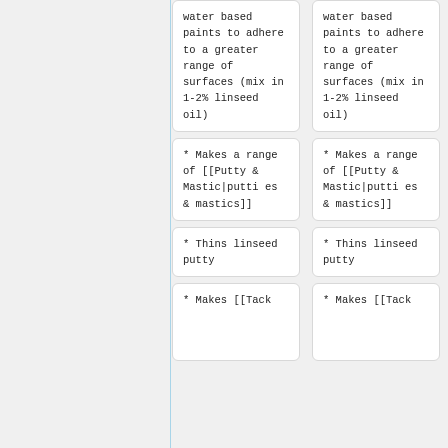| water based paints to adhere to a greater range of surfaces (mix in 1-2% linseed oil) | water based paints to adhere to a greater range of surfaces (mix in 1-2% linseed oil) |
| * Makes a range of [[Putty & Mastic|putties & mastics]] | * Makes a range of [[Putty & Mastic|putties & mastics]] |
| * Thins linseed putty | * Thins linseed putty |
| * Makes [[Tack | * Makes [[Tack |